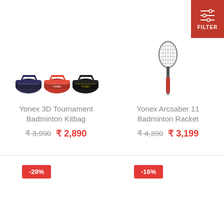[Figure (photo): Three Yonex sports bags (blue, pink/red, black) shown side by side]
Yonex 3D Tournament Badminton Kitbag
₹ 3,990  ₹ 2,890
[Figure (photo): Yonex Arcsaber 11 badminton racket shown vertically]
Yonex Arcsaber 11 Badminton Racket
₹ 4,390  ₹ 3,199
[Figure (infographic): Filter button with slider icon and FILTER text on red background]
-28%
-16%